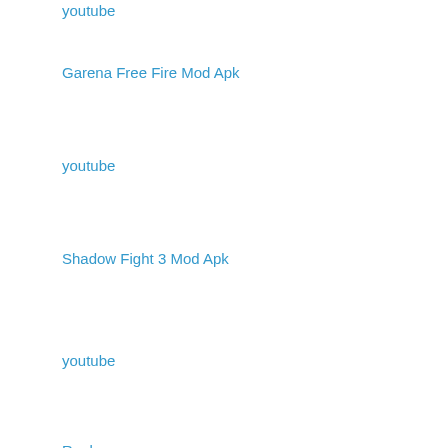youtube
Garena Free Fire Mod Apk
youtube
Shadow Fight 3 Mod Apk
youtube
Reply
yanmaneee  May 19, 2019 at 12:38 PM
golden goose
golden goose sneakers
jordan 4
supreme clothing
louboutin shoes uk
chrome hearts online
hermes handbags
birkin bag